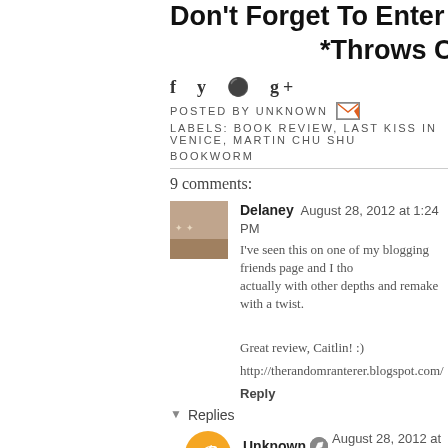Don't Forget To Enter The Giv... *Throws C...
f y @ g+
POSTED BY UNKNOWN
LABELS: BOOK REVIEW, LAST KISS IN VENICE, MARTIN CHU SHU... BOOKWORM
9 comments:
Delaney August 28, 2012 at 1:24 PM
I've seen this on one of my blogging friends page and I tho... actually with other depths and remake with a twist.

Great review, Caitlin! :)
http://therandomranterer.blogspot.com/

Reply
Replies
Unknown August 28, 2012 at 4:10 PM
I see what you mean, the title does make it seem... depth to it :)
Thanks for commenting!